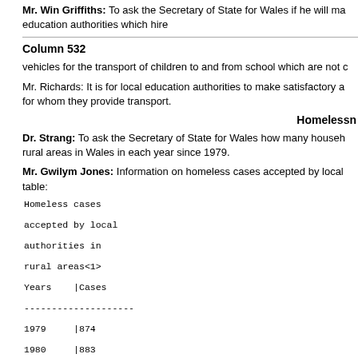Mr. Win Griffiths: To ask the Secretary of State for Wales if he will ma education authorities which hire
Column 532
vehicles for the transport of children to and from school which are not c
Mr. Richards: It is for local education authorities to make satisfactory a for whom they provide transport.
Homelessness
Dr. Strang: To ask the Secretary of State for Wales how many househ rural areas in Wales in each year since 1979.
Mr. Gwilym Jones: Information on homeless cases accepted by local table:
| Years | Cases |
| --- | --- |
| 1979 | 874 |
| 1980 | 883 |